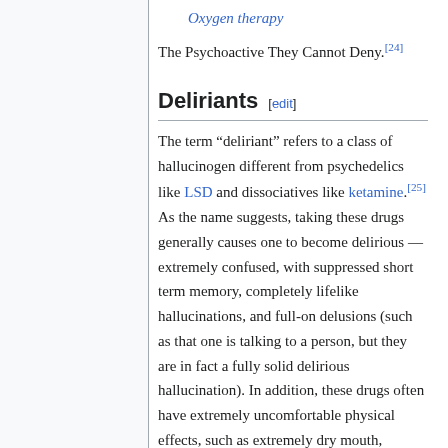Oxygen therapy
The Psychoactive They Cannot Deny.[24]
Deliriants [edit]
The term “deliriant” refers to a class of hallucinogen different from psychedelics like LSD and dissociatives like ketamine.[25] As the name suggests, taking these drugs generally causes one to become delirious — extremely confused, with suppressed short term memory, completely lifelike hallucinations, and full-on delusions (such as that one is talking to a person, but they are in fact a fully solid delirious hallucination). In addition, these drugs often have extremely uncomfortable physical effects, such as extremely dry mouth, shaking, blurry vision (often to the point of blindness, which is